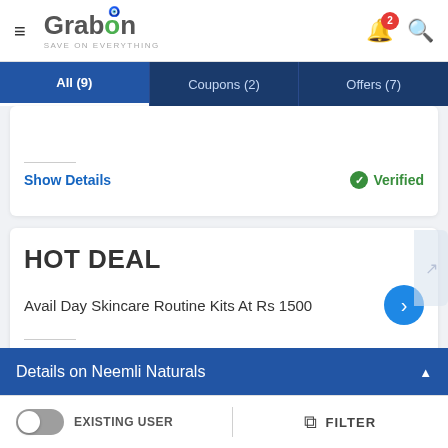GrabOn - SAVE ON EVERYTHING | All (9) | Coupons (2) | Offers (7)
Show Details
Verified
HOT DEAL
Avail Day Skincare Routine Kits At Rs 1500
Show Details
Verified
Details on Neemli Naturals
EXISTING USER | FILTER